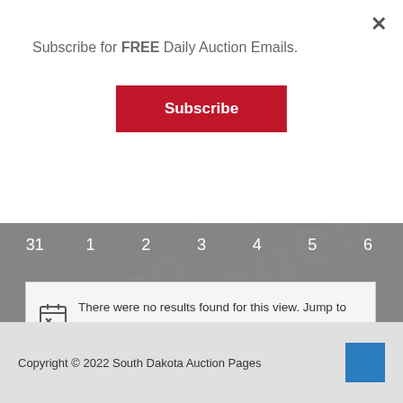Subscribe for FREE Daily Auction Emails.
Subscribe
31  1  2  3  4  5  6
There were no results found for this view. Jump to the next upcoming auctions.
< Apr    Today    Jun >
Copyright © 2022 South Dakota Auction Pages